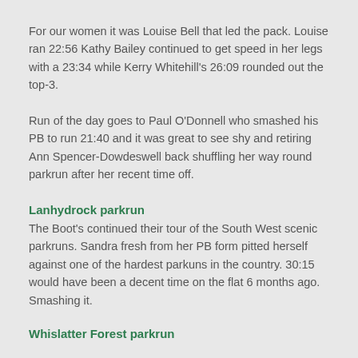For our women it was Louise Bell that led the pack. Louise ran 22:56 Kathy Bailey continued to get speed in her legs with a 23:34 while Kerry Whitehill's 26:09 rounded out the top-3.
Run of the day goes to Paul O'Donnell who smashed his PB to run 21:40 and it was great to see shy and retiring Ann Spencer-Dowdeswell back shuffling her way round parkrun after her recent time off.
Lanhydrock parkrun
The Boot's continued their tour of the South West scenic parkruns. Sandra fresh from her PB form pitted herself against one of the hardest parkuns in the country. 30:15 would have been a decent time on the flat 6 months ago. Smashing it.
Whislatter Forest parkrun